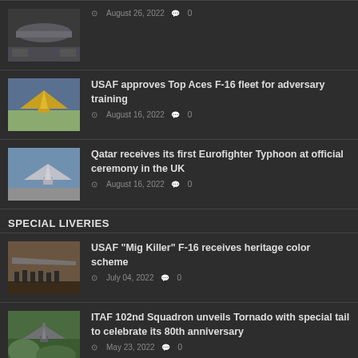[Figure (photo): Military aircraft on ground, top partial view]
August 26, 2022   0
[Figure (photo): F-16 fighter jet in flight with yellow/gold livery]
USAF approves Top Aces F-16 fleet for adversary training
August 16, 2022   0
[Figure (photo): Eurofighter Typhoon in flight]
Qatar receives its first Eurofighter Typhoon at official ceremony in the UK
August 16, 2022   0
SPECIAL LIVERIES
[Figure (photo): Military personnel standing in front of F-16 aircraft in hangar]
USAF "Mig Killer" F-16 receives heritage color scheme
July 04, 2022   0
[Figure (photo): Tornado aircraft flying over green landscape]
ITAF 102nd Squadron unveils Tornado with special tail to celebrate its 80th anniversary
May 23, 2022   0